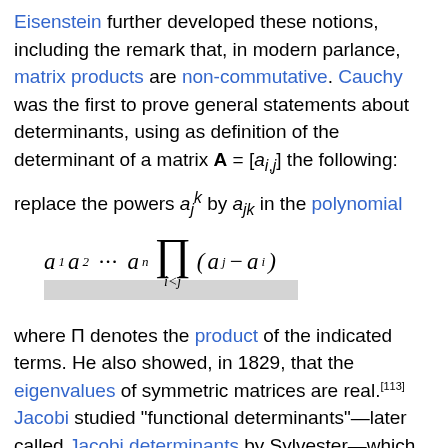Eisenstein further developed these notions, including the remark that, in modern parlance, matrix products are non-commutative. Cauchy was the first to prove general statements about determinants, using as definition of the determinant of a matrix A = [a_{i,j}] the following:
replace the powers a_j^k by a_{jk} in the polynomial
where Π denotes the product of the indicated terms. He also showed, in 1829, that the eigenvalues of symmetric matrices are real.[113] Jacobi studied "functional determinants"—later called Jacobi determinants by Sylvester—which can be used to describe geometric transformations at a local (or infinitesimal) level